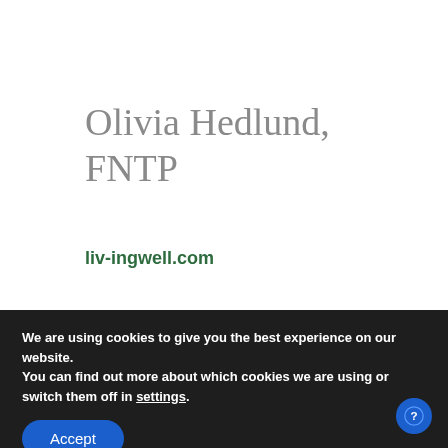Olivia Hedlund, FNTP
liv-ingwell.com
We are using cookies to give you the best experience on our website.
You can find out more about which cookies we are using or switch them off in settings.
Accept